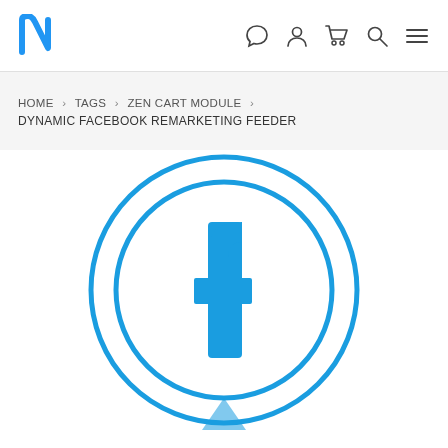Navigation header with logo and icons
HOME > TAGS > ZEN CART MODULE > DYNAMIC FACEBOOK REMARKETING FEEDER
[Figure (logo): Facebook logo icon inside two concentric blue circles on white background — Facebook 'f' lettermark in blue, surrounded by inner and outer blue circle rings]